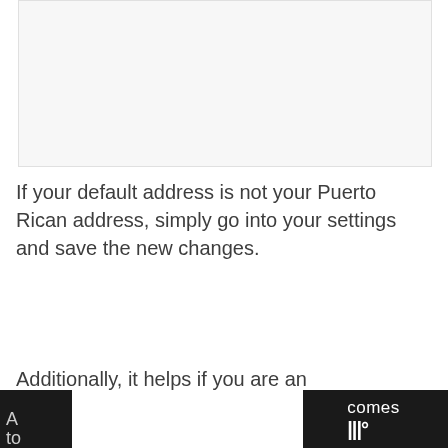[Figure (screenshot): Screenshot area showing a light gray interface panel]
If your default address is not your Puerto Rican address, simply go into your settings and save the new changes.
Additionally, it helps if you are an
A...to
comes